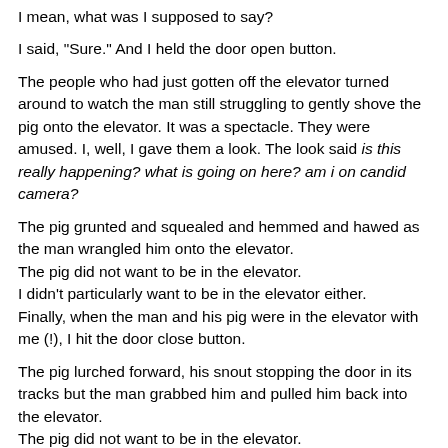I mean, what was I supposed to say?
I said, "Sure." And I held the door open button.
The people who had just gotten off the elevator turned around to watch the man still struggling to gently shove the pig onto the elevator. It was a spectacle. They were amused. I, well, I gave them a look. The look said is this really happening? what is going on here? am i on candid camera?
The pig grunted and squealed and hemmed and hawed as the man wrangled him onto the elevator.
The pig did not want to be in the elevator.
I didn't particularly want to be in the elevator either.
Finally, when the man and his pig were in the elevator with me (!), I hit the door close button.
The pig lurched forward, his snout stopping the door in its tracks but the man grabbed him and pulled him back into the elevator.
The pig did not want to be in the elevator.
I really didn't want to be in the elevator either.